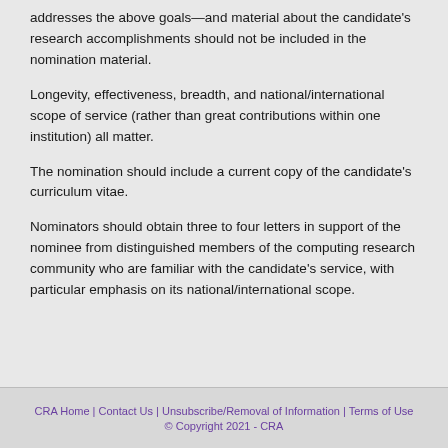addresses the above goals—and material about the candidate's research accomplishments should not be included in the nomination material.
Longevity, effectiveness, breadth, and national/international scope of service (rather than great contributions within one institution) all matter.
The nomination should include a current copy of the candidate's curriculum vitae.
Nominators should obtain three to four letters in support of the nominee from distinguished members of the computing research community who are familiar with the candidate's service, with particular emphasis on its national/international scope.
CRA Home | Contact Us | Unsubscribe/Removal of Information | Terms of Use
© Copyright 2021 - CRA